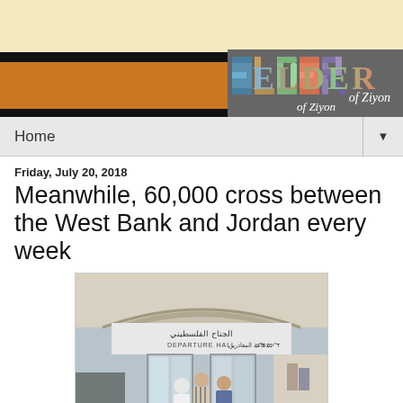[Figure (logo): Elder of Ziyon blog logo with orange and black banner header]
Home ▼
Friday, July 20, 2018
Meanwhile, 60,000 cross between the West Bank and Jordan every week
[Figure (photo): Departure Hall entrance of the Allenby/King Hussein Bridge border crossing between the West Bank and Jordan, showing people walking through glass doors with signs in Arabic, English, and Hebrew]
Palestine Press reports that about 60,000 people crossed